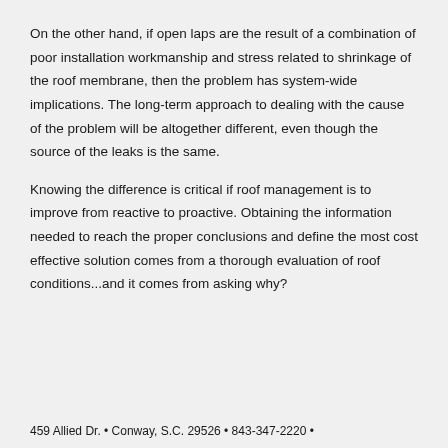On the other hand, if open laps are the result of a combination of poor installation workmanship and stress related to shrinkage of the roof membrane, then the problem has system-wide implications. The long-term approach to dealing with the cause of the problem will be altogether different, even though the source of the leaks is the same.
Knowing the difference is critical if roof management is to improve from reactive to proactive. Obtaining the information needed to reach the proper conclusions and define the most cost effective solution comes from a thorough evaluation of roof conditions...and it comes from asking why?
459 Allied Dr. • Conway, S.C. 29526 • 843-347-2220 •